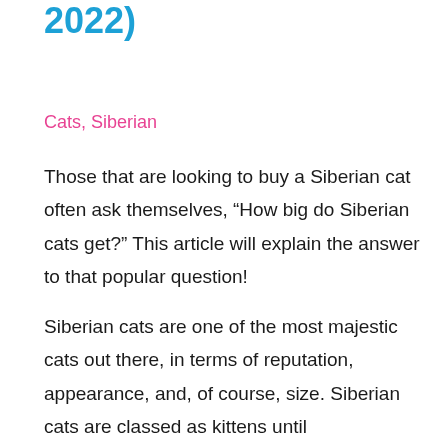2022)
Cats, Siberian
Those that are looking to buy a Siberian cat often ask themselves, “How big do Siberian cats get?” This article will explain the answer to that popular question!
Siberian cats are one of the most majestic cats out there, in terms of reputation, appearance, and, of course, size. Siberian cats are classed as kittens until